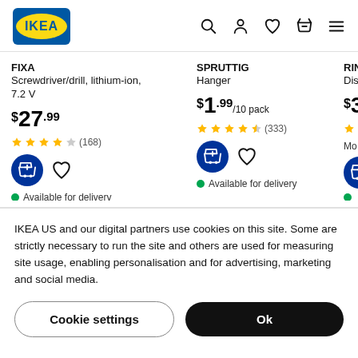IKEA header with logo and navigation icons
FIXA
Screwdriver/drill, lithium-ion, 7.2 V
$27.99
4 stars (168)
Available for delivery
SPRUTTIG
Hanger
$1.99/10 pack
4.5 stars (333)
Available for delivery
RIN...
Dis...
$3...
IKEA US and our digital partners use cookies on this site. Some are strictly necessary to run the site and others are used for measuring site usage, enabling personalisation and for advertising, marketing and social media.
Cookie settings
Ok